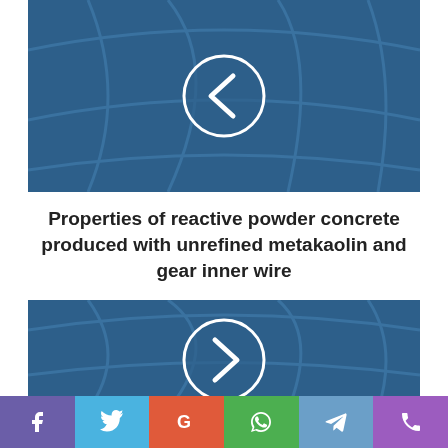[Figure (illustration): Dark blue globe/world map background with curved grid lines. A white circle in the center contains a left-pointing chevron arrow icon (navigation previous button).]
Properties of reactive powder concrete produced with unrefined metakaolin and gear inner wire
[Figure (illustration): Dark blue globe/world map background with curved grid lines. A white circle in the center contains a right-pointing chevron arrow icon (navigation next button).]
[Figure (infographic): Social media sharing bar with 6 buttons: Facebook (purple), Twitter (light blue), Google+ (orange-red), WhatsApp (green), Telegram (blue-grey), Phone/other (violet).]